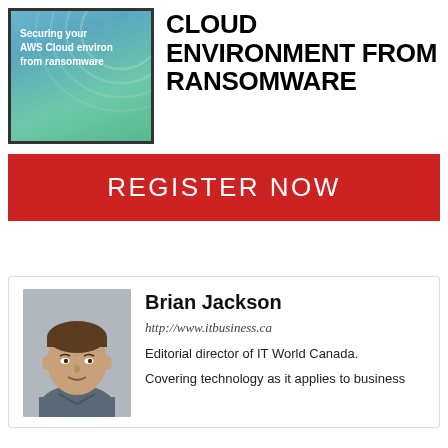[Figure (illustration): Book cover for 'Securing your AWS Cloud environment from ransomware' with teal/green gradient background and wave pattern]
CLOUD ENVIRONMENT FROM RANSOMWARE
REGISTER NOW
[Figure (photo): Headshot photo of Brian Jackson, a man in a dark shirt]
Brian Jackson
http://www.itbusiness.ca
Editorial director of IT World Canada.
Covering technology as it applies to business